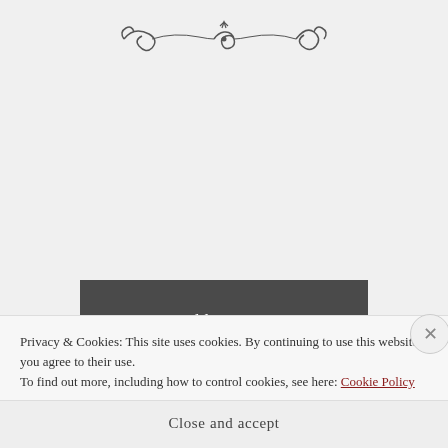[Figure (illustration): Decorative ornamental divider with scrollwork and flourishes, dark color on light gray background]
Older posts
Search ...
Search
Privacy & Cookies: This site uses cookies. By continuing to use this website, you agree to their use.
To find out more, including how to control cookies, see here: Cookie Policy
Close and accept